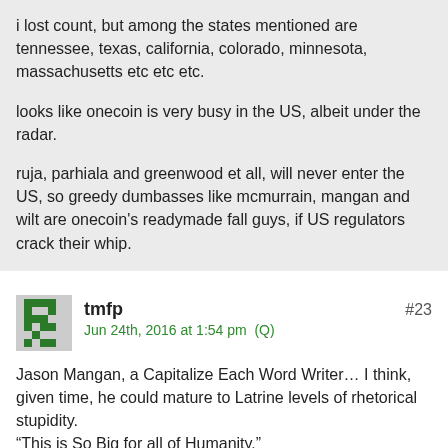i lost count, but among the states mentioned are tennessee, texas, california, colorado, minnesota, massachusetts etc etc etc.
looks like onecoin is very busy in the US, albeit under the radar.
ruja, parhiala and greenwood et all, will never enter the US, so greedy dumbasses like mcmurrain, mangan and wilt are onecoin's readymade fall guys, if US regulators crack their whip.
[Figure (logo): Green pixel/mosaic style avatar icon for user tmfp]
tmfp
Jun 24th, 2016 at 1:54 pm  (Q)
#23
Jason Mangan, a Capitalize Each Word Writer… I think, given time, he could mature to Latrine levels of rhetorical stupidity.
“This is So Big for all of Humanity.”
“For all The Simple Minded People That want to learn Exactly what The New Currency is all about…”
“My Soul Passion is To Connect with My Prime Divine Creator.